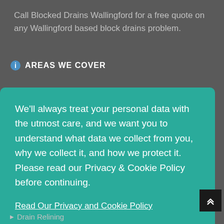Call Blocked Drains Wallingford for a free quote on any Wallingford based block drains problem.
AREAS WE COVER
We'll always treat your personal data with the utmost care, and we want you to understand what data we collect from you, why we collect it, and how we protect it. Please read our Privacy & Cookie Policy before continuing.
Read Our Privacy and Cookie Policy
Decline
Accept
Drain Relining